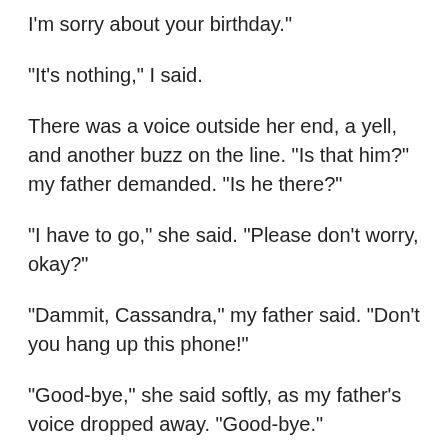I'm sorry about your birthday."
"It's nothing," I said.
There was a voice outside her end, a yell, and another buzz on the line. "Is that him?" my father demanded. "Is he there?"
"I have to go," she said. "Please don't worry, okay?"
"Dammit, Cassandra," my father said. "Don't you hang up this phone!"
"Good-bye," she said softly, as my father's voice dropped away. "Good-bye."
"Cassandra!" my mother wailed into the phone, all